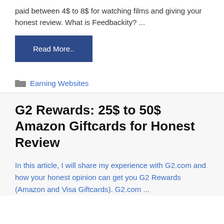paid between 4$ to 8$ for watching films and giving your honest review. What is Feedbackity? ...
Read More..
Earning Websites
G2 Rewards: 25$ to 50$ Amazon Giftcards for Honest Review
In this article, I will share my experience with G2.com and how your honest opinion can get you G2 Rewards (Amazon and Visa Giftcards). G2.com ...